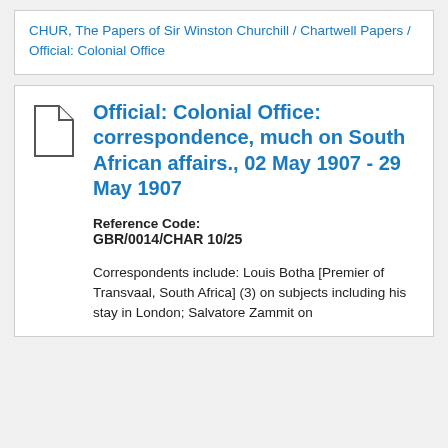CHUR, The Papers of Sir Winston Churchill / Chartwell Papers / Official: Colonial Office
Official: Colonial Office: correspondence, much on South African affairs., 02 May 1907 - 29 May 1907
Reference Code: GBR/0014/CHAR 10/25
Correspondents include: Louis Botha [Premier of Transvaal, South Africa] (3) on subjects including his stay in London; Salvatore Zammit on